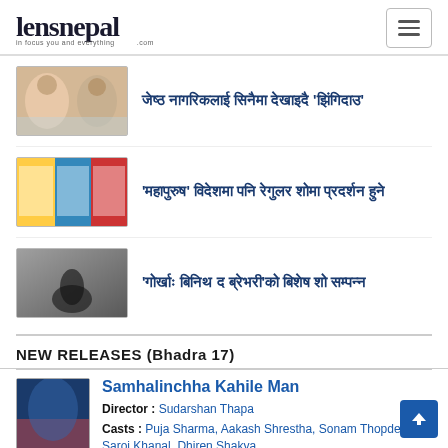lensnepal - in focus you and everything .com
जेष्ठ नागरिकलाई सिनैमा देखाइदै 'झिंगिदाउ'
'महापुरुष' विदेशमा पनि रेगुलर शोमा प्रदर्शन हुने
'गोर्खाः बिनिथ द ब्रेभरी'को बिशेष शो सम्पन्न
NEW RELEASES (Bhadra 17)
Samhalinchha Kahile Man
Director : Sudarshan Thapa
Casts : Puja Sharma, Aakash Shrestha, Sonam Thopden Saroj Khanal, Dhiren Shakya